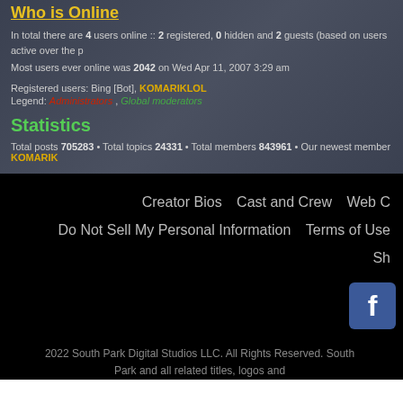Who is Online
In total there are 4 users online :: 2 registered, 0 hidden and 2 guests (based on users active over the p
Most users ever online was 2042 on Wed Apr 11, 2007 3:29 am
Registered users: Bing [Bot], KOMARIKLOL
Legend: Administrators , Global moderators
Statistics
Total posts 705283 • Total topics 24331 • Total members 843961 • Our newest member KOMARIK
Creator Bios    Cast and Crew    Web C
Do Not Sell My Personal Information    Terms of Use
Sh
[Figure (logo): Facebook icon - dark blue square with white F letter]
2022 South Park Digital Studios LLC. All Rights Reserved. South Park and all related titles, logos and